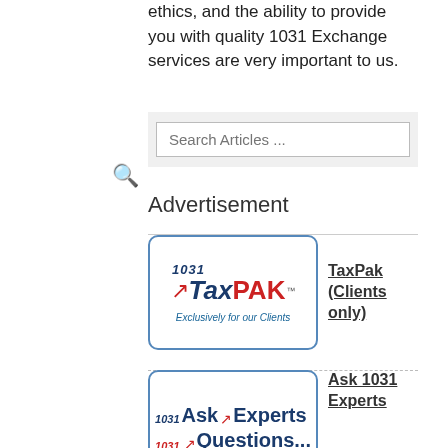ethics, and the ability to provide you with quality 1031 Exchange services are very important to us.
Search Articles ...
Advertisement
[Figure (logo): 1031 TaxPak logo with red checkmark arrow, text 'Exclusively for our Clients']
TaxPak (Clients only)
[Figure (logo): Ask 1031 Experts logo with 1031 Questions text and red checkmark arrows]
Ask 1031 Experts